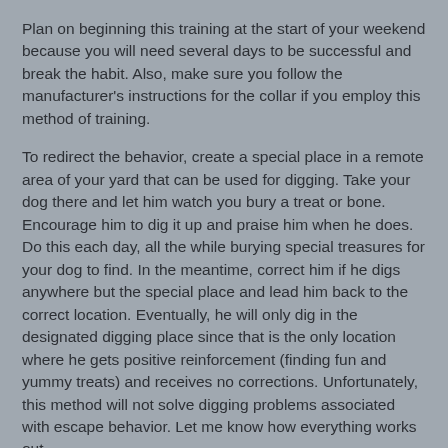Plan on beginning this training at the start of your weekend because you will need several days to be successful and break the habit. Also, make sure you follow the manufacturer's instructions for the collar if you employ this method of training.
To redirect the behavior, create a special place in a remote area of your yard that can be used for digging. Take your dog there and let him watch you bury a treat or bone. Encourage him to dig it up and praise him when he does. Do this each day, all the while burying special treasures for your dog to find. In the meantime, correct him if he digs anywhere but the special place and lead him back to the correct location. Eventually, he will only dig in the designated digging place since that is the only location where he gets positive reinforcement (finding fun and yummy treats) and receives no corrections. Unfortunately, this method will not solve digging problems associated with escape behavior. Let me know how everything works out.
Dr. Marie Hulett at 12:33 PM    No comments: